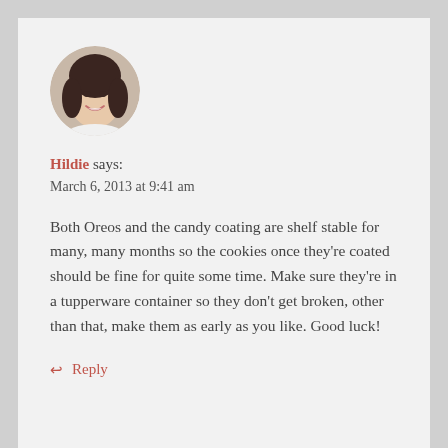[Figure (photo): Circular avatar photo of a smiling woman with dark hair.]
Hildie says:
March 6, 2013 at 9:41 am
Both Oreos and the candy coating are shelf stable for many, many months so the cookies once they’re coated should be fine for quite some time. Make sure they’re in a tupperware container so they don’t get broken, other than that, make them as early as you like. Good luck!
↩ Reply